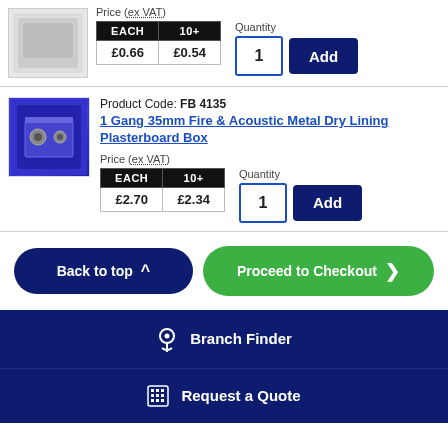| EACH | 10+ |
| --- | --- |
| £0.66 | £0.54 |
Product Code: FB 4135
1 Gang 35mm Fire & Acoustic Metal Dry Lining Plasterboard Box
| EACH | 10+ |
| --- | --- |
| £2.70 | £2.34 |
Back to top
Proceed to Checkout
Branch Finder
Request a Quote